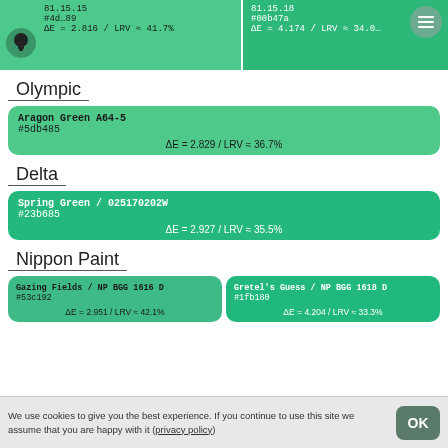[Figure (screenshot): Top partial color swatch row showing two paint color cards partially cropped. Left card: 81.15.15, hex #4d…89, ΔE=2.816/LRV≈41.7%. Right card: 81.15.18, #00b47a, ΔE=4.174/LRV≈34.0…, with menu hamburger icon and lightbulb icon overlay.]
Olympic
Aragon Green A64-5
#5db485
ΔE = 2.829 / LRV ≈ 36.7%
Delta
Spring Green / 025170202W
#23b685
ΔE = 2.927 / LRV ≈ 35.5%
Nippon Paint
Gazing Fields / NP BGG 1616 D
#53c192
ΔE = 2.951 / LRV ≈ 42.1%
Gretel's Guess / NP BGG 1618 D
#1fb180
ΔE = 4.204 / LRV ≈ 33.3%
We use cookies to give you the best experience. If you continue to use this site we assume that you are happy with it (privacy policy)